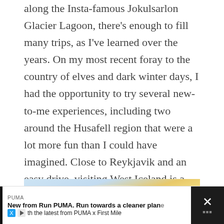along the Insta-famous Jokulsarlon Glacier Lagoon, there's enough to fill many trips, as I've learned over the years. On my most recent foray to the country of elves and dark winter days, I had the opportunity to try several new-to-me experiences, including two around the Husafell region that were a lot more fun than I could have imagined. Close to Reykjavik and an easy drive, visiting West Iceland is a good way for travelers to get out of the capital city and explore some of the country's rugged terrain.
[Figure (photo): A sky scene with warm golden clouds and light blue sky, likely an Icelandic sunset or sunrise panorama]